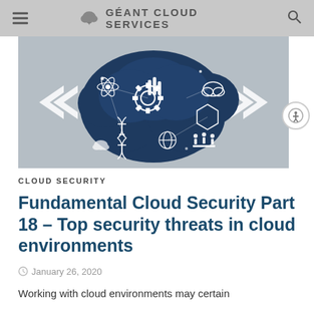GÉANT CLOUD SERVICES
[Figure (illustration): A stylized dark blue cloud filled with science and technology icons including gears, DNA, atoms, hexagons, a globe, lab equipment, and network lines on a grey background]
CLOUD SECURITY
Fundamental Cloud Security Part 18 – Top security threats in cloud environments
January 26, 2020
Working with cloud environments may certain